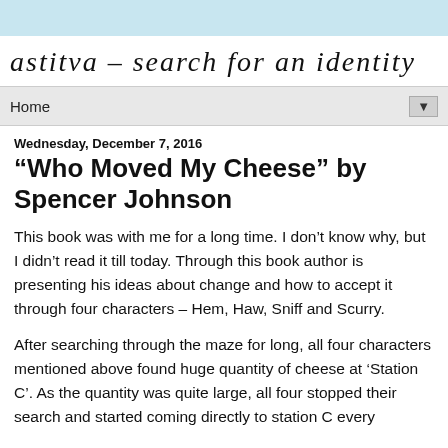astitva – search for an identity
Home
Wednesday, December 7, 2016
“Who Moved My Cheese” by Spencer Johnson
This book was with me for a long time. I don’t know why, but I didn’t read it till today. Through this book author is presenting his ideas about change and how to accept it through four characters – Hem, Haw, Sniff and Scurry.
After searching through the maze for long, all four characters mentioned above found huge quantity of cheese at ‘Station C’. As the quantity was quite large, all four stopped their search and started coming directly to station C every